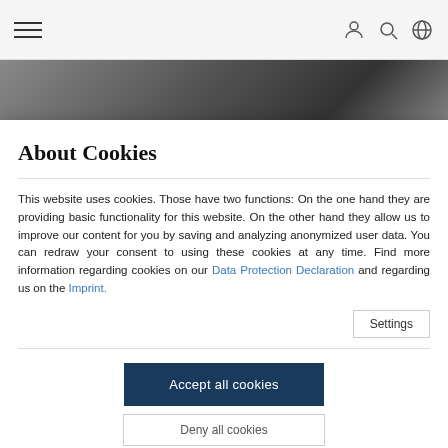Navigation bar with hamburger menu and icons for user, search, and globe
[Figure (photo): Dark gradient background image area beneath navigation bar]
About Cookies
This website uses cookies. Those have two functions: On the one hand they are providing basic functionality for this website. On the other hand they allow us to improve our content for you by saving and analyzing anonymized user data. You can redraw your consent to using these cookies at any time. Find more information regarding cookies on our Data Protection Declaration and regarding us on the Imprint.
Settings
Accept all cookies
Deny all cookies